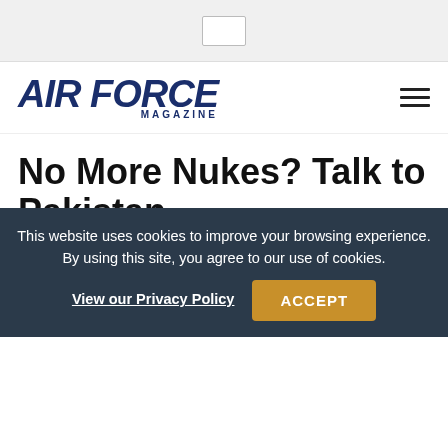[Figure (screenshot): Browser top bar with URL input box]
AIR FORCE MAGAZINE
No More Nukes? Talk to Pakistan
Nov. 14, 2012 | By Arie Church
[Figure (infographic): Social sharing buttons: Facebook, Twitter, Print, More (+)]
This website uses cookies to improve your browsing experience. By using this site, you agree to our use of cookies. View our Privacy Policy  ACCEPT